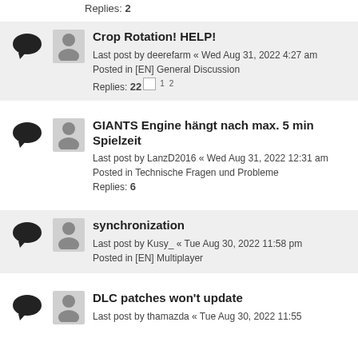Replies: 2
Crop Rotation! HELP!
Last post by deerefarm « Wed Aug 31, 2022 4:27 am
Posted in [EN] General Discussion
Replies: 22 1 2
GIANTS Engine hängt nach max. 5 min Spielzeit
Last post by LanzD2016 « Wed Aug 31, 2022 12:31 am
Posted in Technische Fragen und Probleme
Replies: 6
synchronization
Last post by Kusy_ « Tue Aug 30, 2022 11:58 pm
Posted in [EN] Multiplayer
DLC patches won't update
Last post by thamazda « Tue Aug 30, 2022 11:55